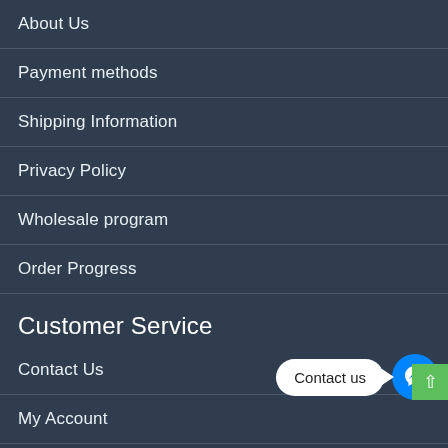About Us
Payment methods
Shipping Information
Privacy Policy
Wholesale program
Order Progress
Customer Service
Contact Us
My Account
Returns/Refund Policy
[Figure (infographic): Facebook Messenger contact button with speech bubble saying 'Contact us' and a blue circular messenger icon, plus a green scroll-to-top button]